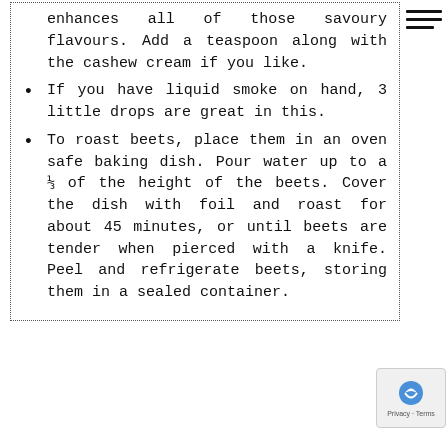enhances all of those savoury flavours. Add a teaspoon along with the cashew cream if you like.
If you have liquid smoke on hand, 3 little drops are great in this.
To roast beets, place them in an oven safe baking dish. Pour water up to a ⅓ of the height of the beets. Cover the dish with foil and roast for about 45 minutes, or until beets are tender when pierced with a knife. Peel and refrigerate beets, storing them in a sealed container.